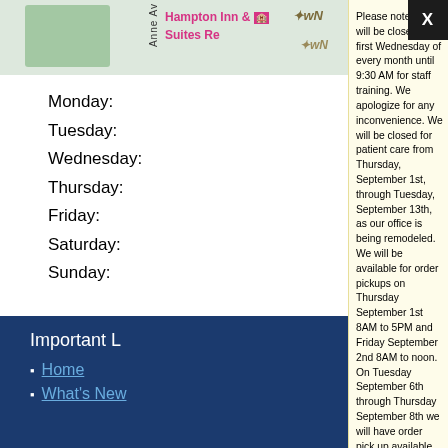[Figure (map): Partial map showing Hampton Inn & Suites location near Anne Avenue]
Monday:
Tuesday:
Wednesday:
Thursday:
Friday:
Saturday:
Sunday:
We are closed the first Wednesday of every month until 9:30 AM for staff training.
Important Links
Home
What's New
Please note we will be closed the first Wednesday of every month until 9:30 AM for staff training. We apologize for any inconvenience.
We will be closed for patient care from Thursday, September 1st, through Tuesday, September 13th, as our office is being remodeled. We will be available for order pickups on Thursday September 1st 8AM to 5PM and Friday September 2nd 8AM to noon. On Tuesday September 6th through Thursday September 8th we will have order pick up available from 8AM to 5PM. To schedule an appointment, please do so here on our website. You may text us questions at 775-787-9137. Thank you for your patience as we try to update our space!